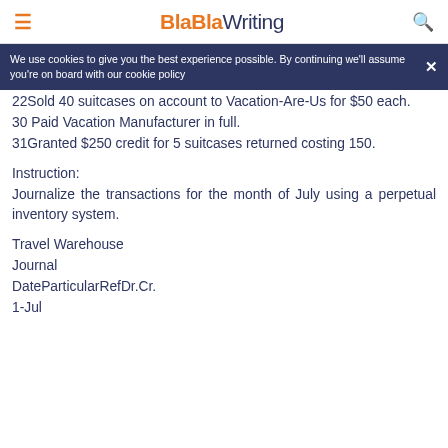≡  BlaBlaWriting  🔍
We use cookies to give you the best experience possible. By continuing we'll assume you're on board with our cookie policy
22Sold 40 suitcases on account to Vacation-Are-Us for $50 each.
30 Paid Vacation Manufacturer in full.
31Granted $250 credit for 5 suitcases returned costing 150.
Instruction:
Journalize the transactions for the month of July using a perpetual inventory system.
Travel Warehouse
Journal
DateParticularRefDr.Cr.
1-Jul